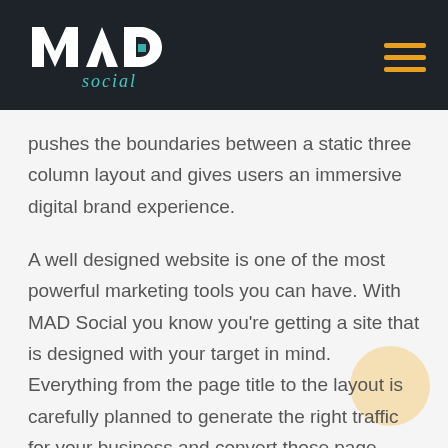[Figure (logo): MAD Social logo — white stylized text 'MAD' with teal cursive 'social' below, on dark background. Hamburger menu icon (three orange horizontal lines) on the right.]
pushes the boundaries between a static three column layout and gives users an immersive digital brand experience.
A well designed website is one of the most powerful marketing tools you can have. With MAD Social you know you're getting a site that is designed with your target in mind. Everything from the page title to the layout is carefully planned to generate the right traffic for your business and convert those page views into